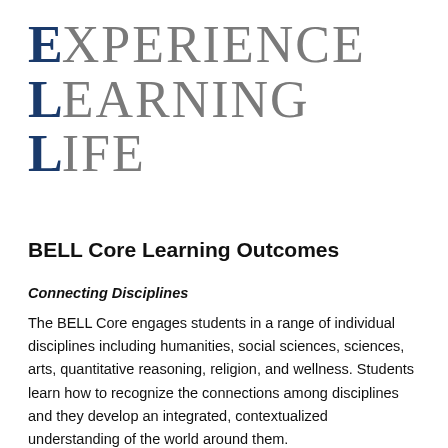[Figure (logo): ELL logo with large bold navy letters E, L, L followed by gray text XPERIENCE, EARNING, IFE on three lines]
BELL Core Learning Outcomes
Connecting Disciplines
The BELL Core engages students in a range of individual disciplines including humanities, social sciences, sciences, arts, quantitative reasoning, religion, and wellness. Students learn how to recognize the connections among disciplines and they develop an integrated, contextualized understanding of the world around them.